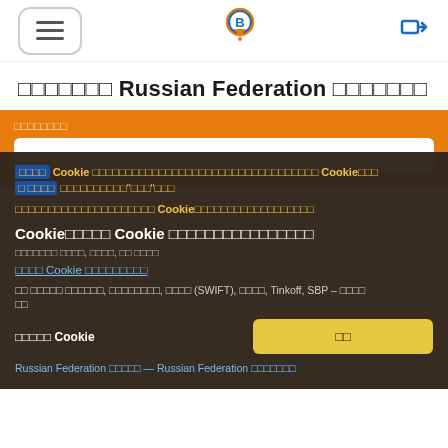Navigation header with hamburger menu, B logo, and login icon
□□□□□□□ Russian Federation □□□□□□□
[Figure (screenshot): Orange search section with label and search input field]
□□□□ Cookie □□□□□□□□□□□□□□□□□□□□□□□□□□□□□□□□□□□ Cookie□□□ □ □□□□ □□□□□□□□□□□"□□□"□□□
□□□□□□□□□□□□□□□□□□□□□ Cookie□□□□□□□□□□□□□□□□□□□
Cookie□□□□□ Cookie □□□□□□□□□□□□□□□
□□□□□□□ □□□□, □□□□□, □□ □□□□
□□□□ Cookie □□□□□□□□□
□□ □□□□□ □□□□□□, □□□□□□□□, □□□□ (SWIFT), □□□□, Tinkoff, SBP – □□□□ □□
□□□□□ Cookie   □
Russian Federation □□□□□ — Russian Federation □□□□□□□